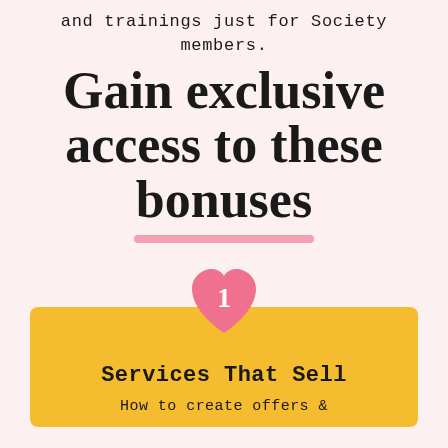and trainings just for Society members.
Gain exclusive access to these bonuses
[Figure (illustration): Pink heart shape with white number 1 inside, positioned above a gold/yellow rounded rectangle card]
Services That Sell
How to create offers &